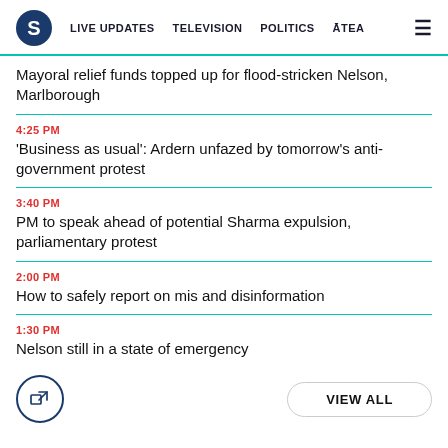S  LIVE UPDATES  TELEVISION  POLITICS  ĀTEA  ☰
Mayoral relief funds topped up for flood-stricken Nelson, Marlborough
4:25 PM
'Business as usual': Ardern unfazed by tomorrow's anti-government protest
3:40 PM
PM to speak ahead of potential Sharma expulsion, parliamentary protest
2:00 PM
How to safely report on mis and disinformation
1:30 PM
Nelson still in a state of emergency
VIEW ALL